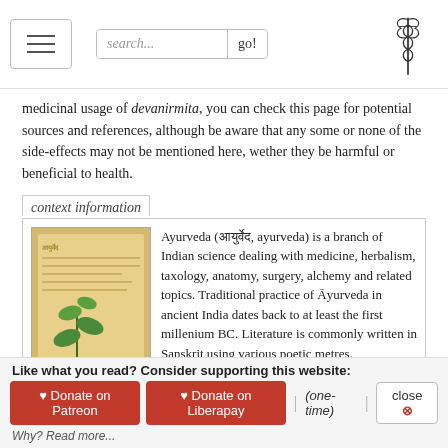Navigation bar with hamburger menu, search box, go button, and caduceus logo
medicinal usage of devanirmita, you can check this page for potential sources and references, although be aware that any some or none of the side-effects may not be mentioned here, wether they be harmful or beneficial to health.
context information
[Figure (illustration): Book cover illustration showing an ancient manuscript page with a plant, representing Ayurveda]
Ayurveda (आयुर्वेद, ayurveda) is a branch of Indian science dealing with medicine, herbalism, taxology, anatomy, surgery, alchemy and related topics. Traditional practice of Āyurveda in ancient India dates back to at least the first millenium BC. Literature is commonly written in Sanskrit using various poetic metres.
Discover the meaning of devanirmita in the context of Ayurveda from relevant books on Exotic India
Languages of India and abroad
Sanskrit dictionary
[«previous (D) next»] — Devanirmita in Sanskrit glossary
Like what you read? Consider supporting this website:
♥ Donate on Patreon  ♥ Donate on Liberapay  |  (one-time)  |  close ⊗
Why? Read more...